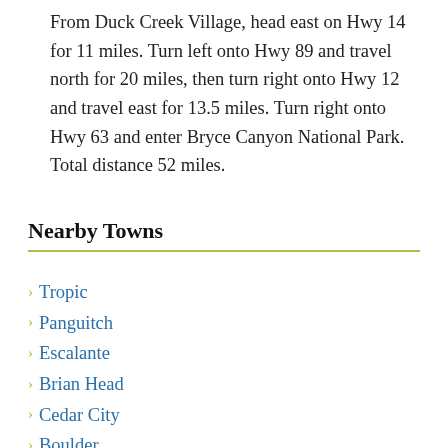From Duck Creek Village, head east on Hwy 14 for 11 miles. Turn left onto Hwy 89 and travel north for 20 miles, then turn right onto Hwy 12 and travel east for 13.5 miles. Turn right onto Hwy 63 and enter Bryce Canyon National Park. Total distance 52 miles.
Nearby Towns
Tropic
Panguitch
Escalante
Brian Head
Cedar City
Boulder
Cannonville
Duck Creek Village